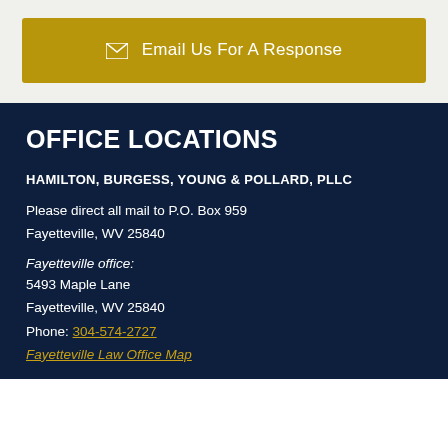✉ Email Us For A Response
OFFICE LOCATIONS
HAMILTON, BURGESS, YOUNG & POLLARD, PLLC
Please direct all mail to P.O. Box 959
Fayetteville, WV 25840
Fayetteville office:
5493 Maple Lane
Fayetteville, WV 25840
Phone: 304-574-2727
Fayetteville Law Office Map